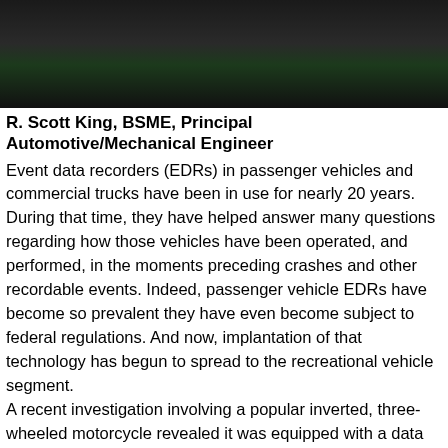[Figure (photo): Dark header image with blurred dark background and green bokeh light]
R. Scott King, BSME, Principal Automotive/Mechanical Engineer
Event data recorders (EDRs) in passenger vehicles and commercial trucks have been in use for nearly 20 years. During that time, they have helped answer many questions regarding how those vehicles have been operated, and performed, in the moments preceding crashes and other recordable events. Indeed, passenger vehicle EDRs have become so prevalent they have even become subject to federal regulations. And now, implantation of that technology has begun to spread to the recreational vehicle segment.
A recent investigation involving a popular inverted, three-wheeled motorcycle revealed it was equipped with a data